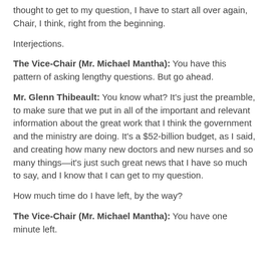thought to get to my question, I have to start all over again, Chair, I think, right from the beginning.
Interjections.
The Vice-Chair (Mr. Michael Mantha): You have this pattern of asking lengthy questions. But go ahead.
Mr. Glenn Thibeault: You know what? It's just the preamble, to make sure that we put in all of the important and relevant information about the great work that I think the government and the ministry are doing. It's a $52-billion budget, as I said, and creating how many new doctors and new nurses and so many things—it's just such great news that I have so much to say, and I know that I can get to my question.
How much time do I have left, by the way?
The Vice-Chair (Mr. Michael Mantha): You have one minute left.